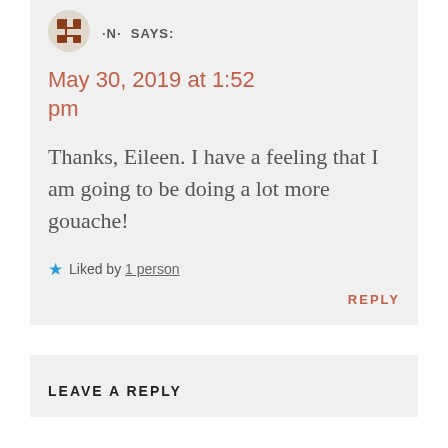[Figure (illustration): User avatar icon — brown hashtag/grid symbol on white circle background]
·N· SAYS:
May 30, 2019 at 1:52 pm
Thanks, Eileen. I have a feeling that I am going to be doing a lot more gouache!
★ Liked by 1 person
REPLY
LEAVE A REPLY